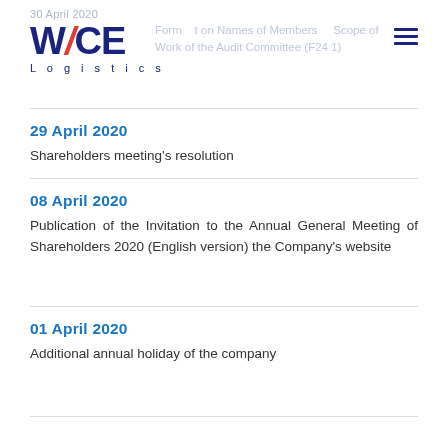30 April 2020 — WICE Logistics — Form: Report on Names of Members and Scope of Work of the Audit Committee (F24 1)
29 April 2020
Shareholders meeting's resolution
08 April 2020
Publication of the Invitation to the Annual General Meeting of Shareholders 2020 (English version) the Company's website
01 April 2020
Additional annual holiday of the company